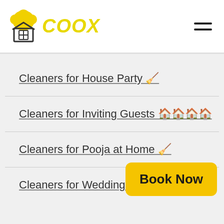COOX
Cleaners for House Party 🧹
Cleaners for Inviting Guests 🏠🏠🏠🏠
Cleaners for Pooja at Home 🧹
Cleaners for Wedding 🧹
Book Now